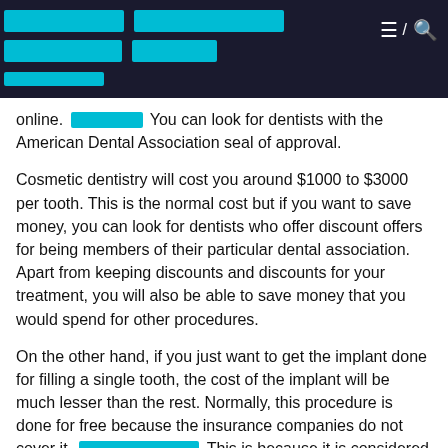[redacted title] [redacted title line 2] [redacted subtitle]
online. [link] You can look for dentists with the American Dental Association seal of approval.
Cosmetic dentistry will cost you around $1000 to $3000 per tooth. This is the normal cost but if you want to save money, you can look for dentists who offer discount offers for being members of their particular dental association. Apart from keeping discounts and discounts for your treatment, you will also be able to save money that you would spend for other procedures.
On the other hand, if you just want to get the implant done for filling a single tooth, the cost of the implant will be much lesser than the rest. Normally, this procedure is done for free because the insurance companies do not cover it. [link] This is because it is considered as cosmetic procedure. If you still think that this is not enough, then you must take into account the following benefits that you can get from this procedure.